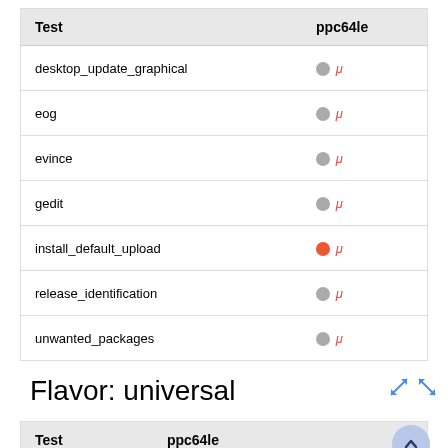| Test | ppc64le |
| --- | --- |
| desktop_update_graphical | ○ μ |
| eog | ○ μ |
| evince | ○ μ |
| gedit | ○ μ |
| install_default_upload | ● μ |
| release_identification | ○ μ |
| unwanted_packages | ○ μ |
Flavor: universal
| Test | ppc64le |
| --- | --- |